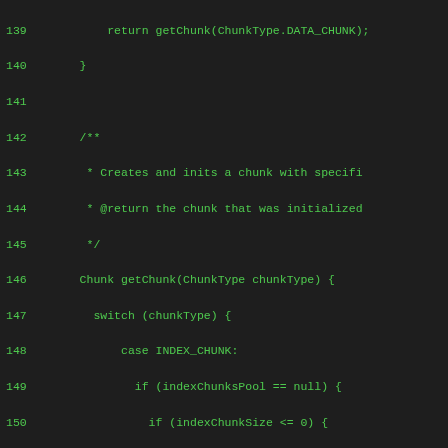[Figure (screenshot): Source code screenshot showing Java code lines 139–167, green monospace text on dark background. Code shows a getChunk method with switch statement handling INDEX_CHUNK and DATA_CHUNK cases with null checks and exception throwing.]